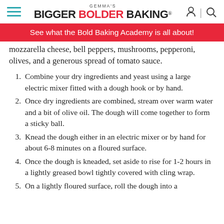GEMMA'S BIGGER BOLDER BAKING®
See what the Bold Baking Academy is all about!
mozzarella cheese, bell peppers, mushrooms, pepperoni, olives, and a generous spread of tomato sauce.
Combine your dry ingredients and yeast using a large electric mixer fitted with a dough hook or by hand.
Once dry ingredients are combined, stream over warm water and a bit of olive oil. The dough will come together to form a sticky ball.
Knead the dough either in an electric mixer or by hand for about 6-8 minutes on a floured surface.
Once the dough is kneaded, set aside to rise for 1-2 hours in a lightly greased bowl tightly covered with cling wrap.
On a lightly floured surface, roll the dough into a